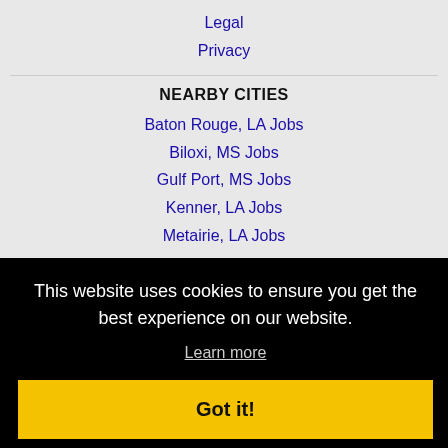Legal
Privacy
NEARBY CITIES
Baton Rouge, LA Jobs
Biloxi, MS Jobs
Gulf Port, MS Jobs
Kenner, LA Jobs
Metairie, LA Jobs
This website uses cookies to ensure you get the best experience on our website.
Learn more
Got it!
New Orleans Jobs